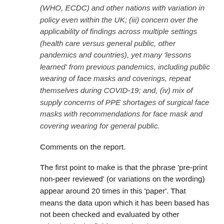(WHO, ECDC) and other nations with variation in policy even within the UK; (iii) concern over the applicability of findings across multiple settings (health care versus general public, other pandemics and countries), yet many 'lessons learned' from previous pandemics, including public wearing of face masks and coverings, repeat themselves during COVID-19; and, (iv) mix of supply concerns of PPE shortages of surgical face masks with recommendations for face mask and covering wearing for general public.
Comments on the report.
The first point to make is that the phrase 'pre-print non-peer reviewed' (or variations on the wording) appear around 20 times in this 'paper'. That means the data upon which it has been based has not been checked and evaluated by other scientists in the field. Now that doesn't mean to say the conclusions are wrong (and there's an interesting BBC Radio 4 programme, Inside Science, 23rd July, which looks at this matter – the first 18 minutes or so) but it is, therefore, more of an assertion than